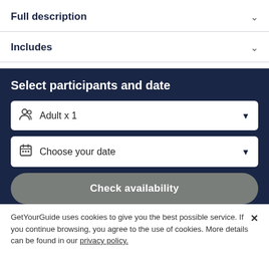Full description
Includes
Select participants and date
Adult x 1
Choose your date
Check availability
GetYourGuide uses cookies to give you the best possible service. If you continue browsing, you agree to the use of cookies. More details can be found in our privacy policy.